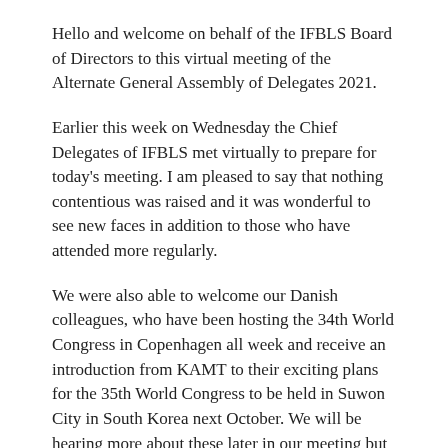Hello and welcome on behalf of the IFBLS Board of Directors to this virtual meeting of the Alternate General Assembly of Delegates 2021.
Earlier this week on Wednesday the Chief Delegates of IFBLS met virtually to prepare for today's meeting. I am pleased to say that nothing contentious was raised and it was wonderful to see new faces in addition to those who have attended more regularly.
We were also able to welcome our Danish colleagues, who have been hosting the 34th World Congress in Copenhagen all week and receive an introduction from KAMT to their exciting plans for the 35th World Congress to be held in Suwon City in South Korea next October. We will be hearing more about these later in our meeting but let me just congratulate Danske Bioanalytikere (dbio) for hosting Congress this week, instead of 2020 as planned. In keeping with the Beatles congress theme, we know it has been a “Long and Winding Road”, and the organizing